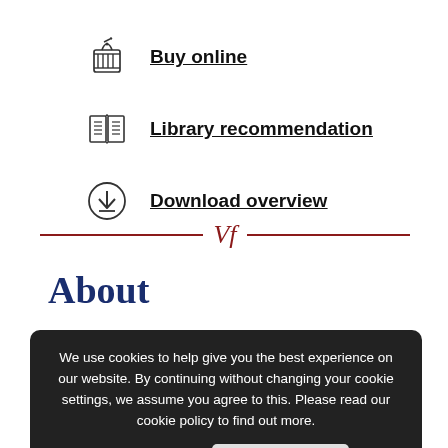Buy online
Library recommendation
Download overview
[Figure (illustration): Decorative divider with italic 'Vf' text in dark red between two horizontal lines]
About
List of illustrations
List of abbreviations
Preface
Biographical note: Graham Hunt
Biographical note: Jo...le Needham
We use cookies to help give you the best experience on our website. By continuing without changing your cookie settings, we assume you agree to this. Please read our cookie policy to find out more. more information  Accept